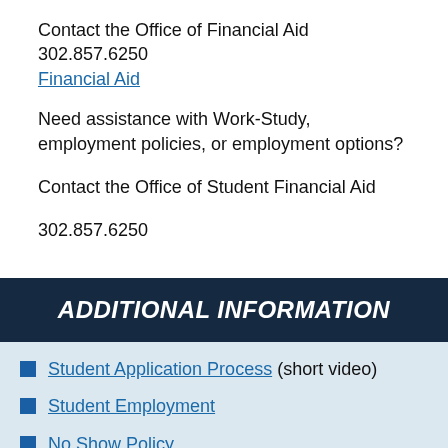Contact the Office of Financial Aid
302.857.6250
Financial Aid
Need assistance with Work-Study, employment policies, or employment options?
Contact the Office of Student Financial Aid
302.857.6250
ADDITIONAL INFORMATION
Student Application Process (short video)
Student Employment
No Show Policy